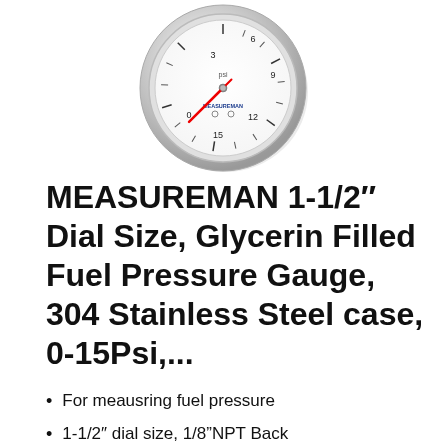[Figure (photo): A small circular pressure gauge with white dial face, stainless steel case, red needle pointing to approximately 0, with markings for 0-15 psi. Brand name MEASUREMAN visible on the dial face.]
MEASUREMAN 1-1/2″ Dial Size, Glycerin Filled Fuel Pressure Gauge, 304 Stainless Steel case, 0-15Psi,...
For meausring fuel pressure
1-1/2″ dial size, 1/8”NPT Back